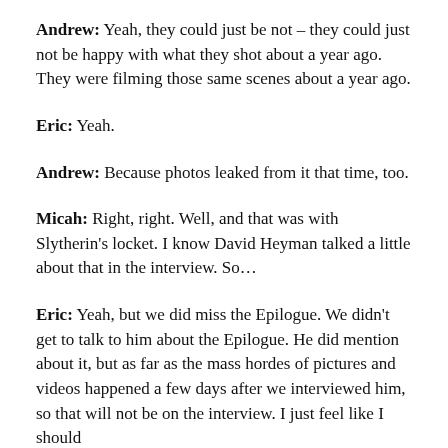Andrew: Yeah, they could just be not – they could just not be happy with what they shot about a year ago. They were filming those same scenes about a year ago.
Eric: Yeah.
Andrew: Because photos leaked from it that time, too.
Micah: Right, right. Well, and that was with Slytherin's locket. I know David Heyman talked a little about that in the interview. So…
Eric: Yeah, but we did miss the Epilogue. We didn't get to talk to him about the Epilogue. He did mention about it, but as far as the mass hordes of pictures and videos happened a few days after we interviewed him, so that will not be on the interview. I just feel like I should